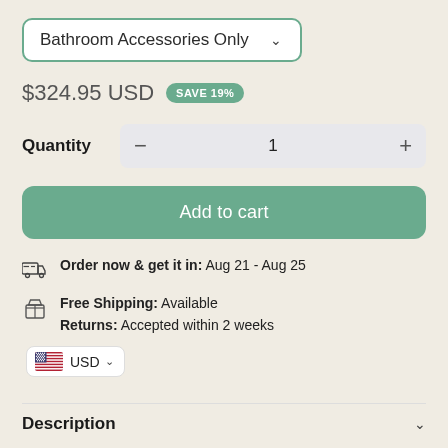Bathroom Accessories Only
$324.95 USD  SAVE 19%
Quantity  -  1  +
Add to cart
Order now & get it in: Aug 21 - Aug 25
Free Shipping: Available
Returns: Accepted within 2 weeks
USD
Description